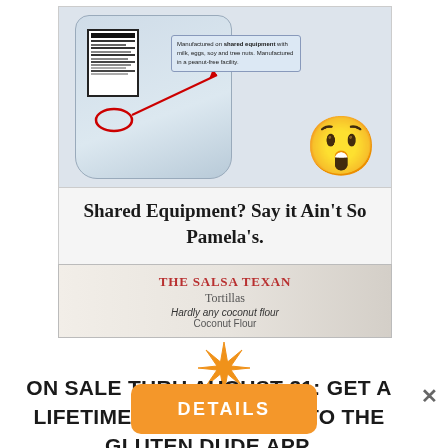[Figure (photo): Social media post image showing a flour bag (Pamela's brand) with a nutrition label highlighted by a red circle and arrow pointing to a callout box with text about shared equipment, along with a shocked face emoji]
Shared Equipment? Say it Ain't So Pamela's.
[Figure (photo): Image strip showing THE SALSA TEXAN Tortillas product label with text 'Hardly any coconut flour' and 'Coconut Flour']
[Figure (illustration): Orange starburst / asterisk decorative symbol]
ON SALE THRU AUGUST 31: GET A LIFETIME SUBSCRIPTION TO THE GLUTEN DUDE APP.
DETAILS